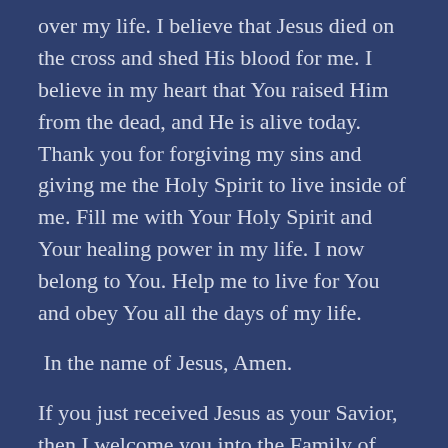over my life. I believe that Jesus died on the cross and shed His blood for me. I believe in my heart that You raised Him from the dead, and He is alive today. Thank you for forgiving my sins and giving me the Holy Spirit to live inside of me. Fill me with Your Holy Spirit and Your healing power in my life. I now belong to You. Help me to live for You and obey You all the days of my life.
In the name of Jesus, Amen.
If you just received Jesus as your Savior, then I welcome you into the Family of God! For more about how to grow in Christ, see: https://alexiscarucci.com/welcome-